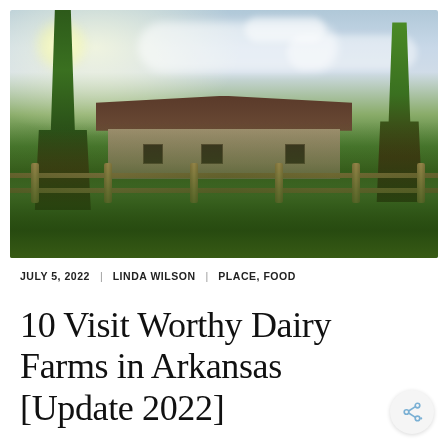[Figure (photo): Photograph of a farmhouse with brown metal roof surrounded by trees and lush green vegetation, with a wooden split-rail fence in the foreground and partly cloudy sky above]
JULY 5, 2022 | LINDA WILSON | PLACE, FOOD
10 Visit Worthy Dairy Farms in Arkansas [Update 2022]